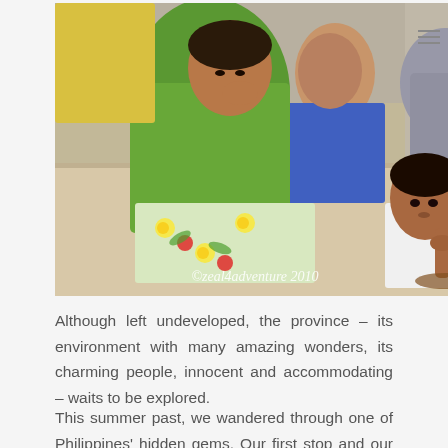[Figure (photo): A group of people sitting on steps or a floor. A man in a green t-shirt sits prominently on the left. A child in blue pants sits in the middle. A young girl in a white dress sits on the right looking at the camera. A floral-patterned cloth (green with yellow flowers) is visible. Watermark reads '©zeal4adventure 2010'.]
Although left undeveloped, the province – its environment with many amazing wonders, its charming people, innocent and accommodating – waits to be explored.
This summer past, we wandered through one of Philippines' hidden gems. Our first stop and our home for